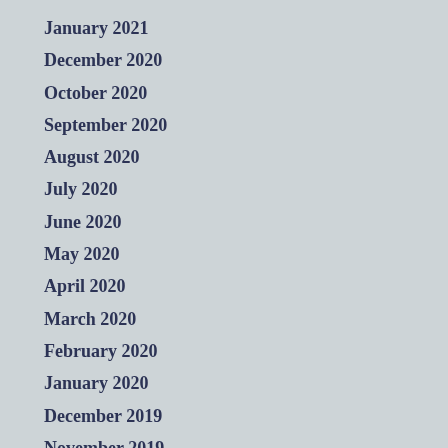January 2021
December 2020
October 2020
September 2020
August 2020
July 2020
June 2020
May 2020
April 2020
March 2020
February 2020
January 2020
December 2019
November 2019
September 2019
August 2019